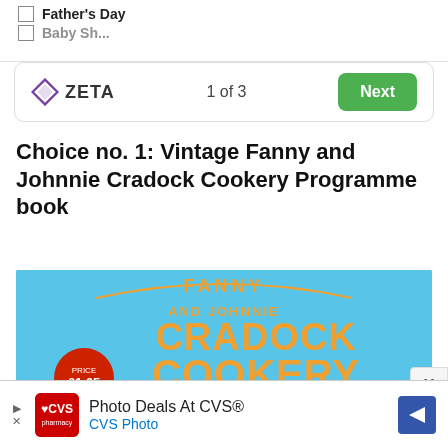Father's Day
Baby Sh...
1 of 3
Choice no. 1: Vintage Fanny and Johnnie Cradock Cookery Programme book
[Figure (photo): Cover of Fanny and Johnnie Cradock Cookery Programme book with blue cover and orange text, showing photo of two people cooking, price £1-65]
Photo Deals At CVS®
CVS Photo